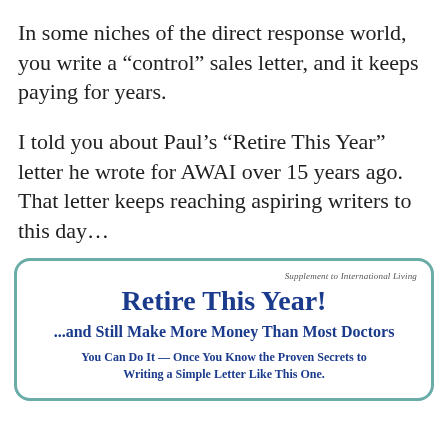In some niches of the direct response world, you write a “control” sales letter, and it keeps paying for years.
I told you about Paul’s “Retire This Year” letter he wrote for AWAI over 15 years ago. That letter keeps reaching aspiring writers to this day…
[Figure (screenshot): Card/box with teal border showing a sales letter header. Top right reads 'Supplement to International Living'. Large bold blue title 'Retire This Year!' followed by bold blue subtitle '...and Still Make More Money Than Most Doctors' and smaller bold blue text 'You Can Do It — Once You Know the Proven Secrets to Writing a Simple Letter Like This One.']